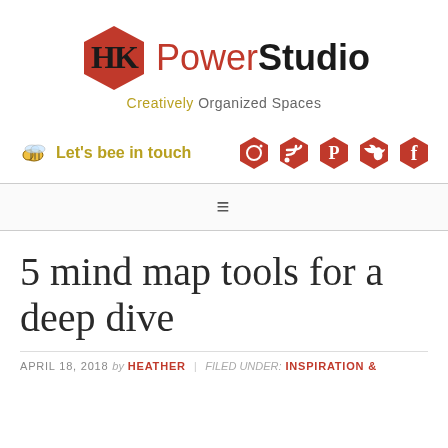[Figure (logo): HK PowerStudio logo with red hexagon icon, 'Power' in red and 'Studio' in black bold, tagline 'Creatively Organized Spaces' below]
Let's bee in touch
[Figure (infographic): Five red hexagon social media icons: Instagram, RSS, Pinterest, Twitter, Facebook]
≡
5 mind map tools for a deep dive
APRIL 18, 2018 by HEATHER | filed under: INSPIRATION &